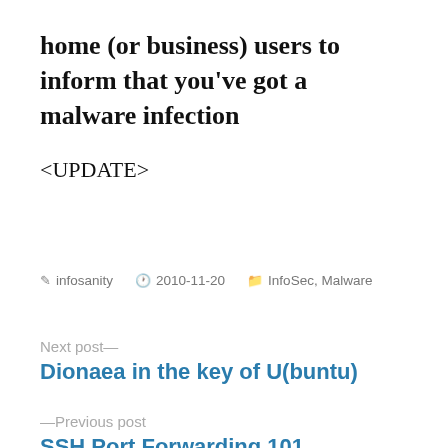home (or business) users to inform that you've got a malware infection
<UPDATE>
infosanity  2010-11-20  InfoSec, Malware
Next post—
Dionaea in the key of U(buntu)
—Previous post
SSH Port Forwarding 101